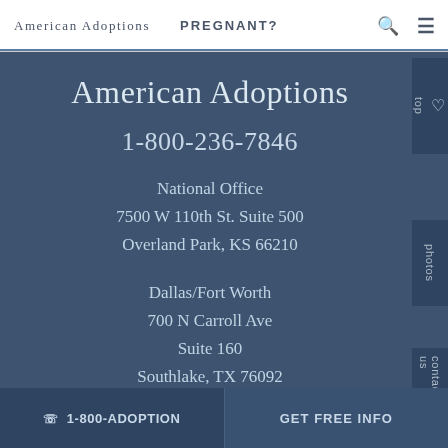American Adoptions   PREGNANT?
American Adoptions
1-800-236-7846
National Office
7500 W 110th St. Suite 500
Overland Park, KS 66210
Dallas/Fort Worth
700 N Carroll Ave
Suite 160
Southlake, TX 76092
817-722-5340
✉ 1-800-ADOPTION   GET FREE INFO